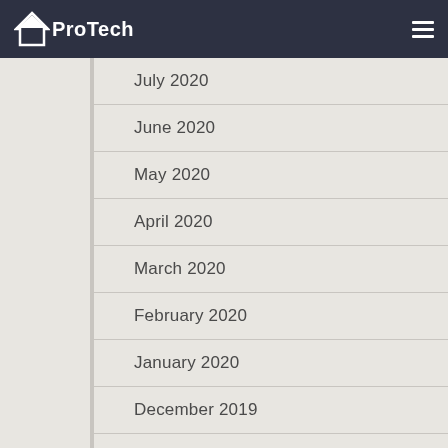ProTech
July 2020
June 2020
May 2020
April 2020
March 2020
February 2020
January 2020
December 2019
November 2019
October 2019